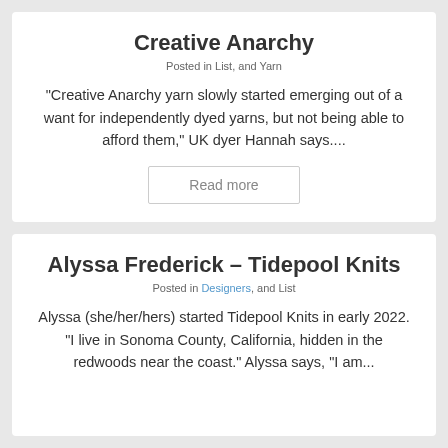Creative Anarchy
Posted in List, and Yarn
“Creative Anarchy yarn slowly started emerging out of a want for independently dyed yarns, but not being able to afford them,” UK dyer Hannah says....
Read more
Alyssa Frederick – Tidepool Knits
Posted in Designers, and List
Alyssa (she/her/hers) started Tidepool Knits in early 2022. “I live in Sonoma County, California, hidden in the redwoods near the coast.” Alyssa says, “I am...